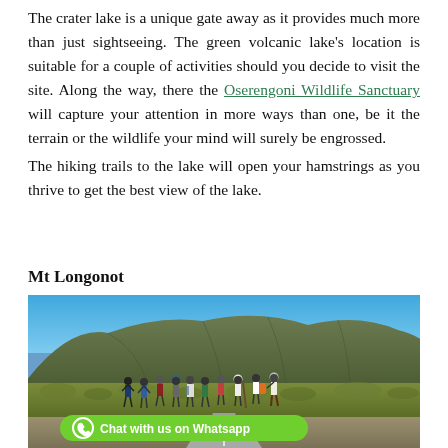The crater lake is a unique gate away as it provides much more than just sightseeing. The green volcanic lake's location is suitable for a couple of activities should you decide to visit the site. Along the way, there the Oserengoni Wildlife Sanctuary will capture your attention in more ways than one, be it the terrain or the wildlife your mind will surely be engrossed.
The hiking trails to the lake will open your hamstrings as you thrive to get the best view of the lake.
Mt Longonot
[Figure (photo): A group of hikers walking along a road toward Mt Longonot, a volcanic mountain with green scrub vegetation. Blue sky in the background. A WhatsApp chat button overlay is visible at the bottom left.]